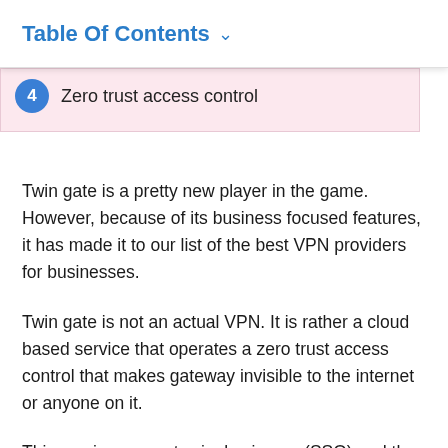Table Of Contents
4 Zero trust access control
Twin gate is a pretty new player in the game. However, because of its business focused features, it has made it to our list of the best VPN providers for businesses.
Twin gate is not an actual VPN. It is rather a cloud based service that operates a zero trust access control that makes gateway invisible to the internet or anyone on it.
This service supports single sign on (SSO) and the employees in a business can only gain access to files for which they are given access - whether on cloud app or on premise apps. It had a split tunneling